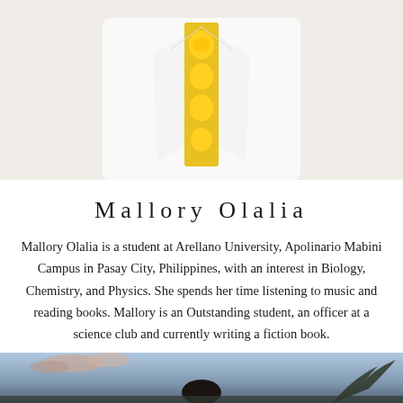[Figure (photo): Top portion of a person wearing a white shirt with a yellow cartoon (Simpsons characters) tie, cropped at mid-torso, photographed from neck down]
Mallory Olalia
Mallory Olalia is a student at Arellano University, Apolinario Mabini Campus in Pasay City, Philippines, with an interest in Biology, Chemistry, and Physics. She spends her time listening to music and reading books. Mallory is an Outstanding student, an officer at a science club and currently writing a fiction book.
[Figure (photo): Bottom portion showing a sunset or dusk outdoor scene with clouds and a silhouette of a person, palm trees visible]